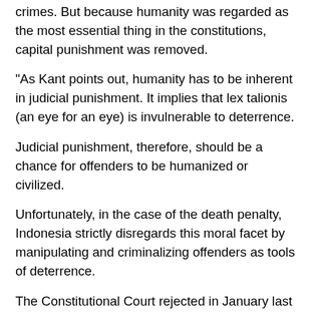crimes. But because humanity was regarded as the most essential thing in the constitutions, capital punishment was removed.
"As Kant points out, humanity has to be inherent in judicial punishment. It implies that lex talionis (an eye for an eye) is invulnerable to deterrence.
Judicial punishment, therefore, should be a chance for offenders to be humanized or civilized.
Unfortunately, in the case of the death penalty, Indonesia strictly disregards this moral facet by manipulating and criminalizing offenders as tools of deterrence.
The Constitutional Court rejected in January last year yet another attempt to abolish the death penalty in the country, especially in drug and murder cases.
A judicial review of the capital punishment article in the Criminal Code was filed, among others by members of the Bali Nine, a group of Australian citizens sentenced to prison